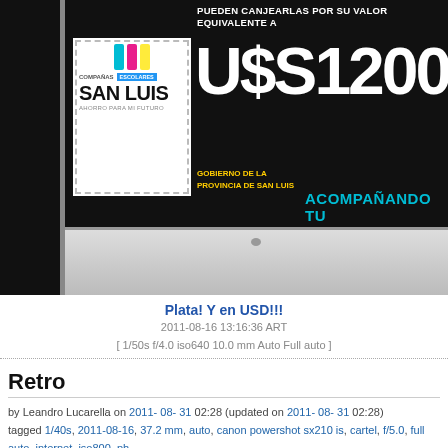[Figure (photo): Photo of a monitor/laptop screen displaying a promotional advertisement in black. Shows a postage-stamp-style 'San Luis Escolares' logo with cyan/magenta/yellow bars, and large white text reading 'U$S 1200'. Yellow text reads 'Gobierno de la Provincia de San Luis' and cyan text reads 'ACOMPAÑANDO TU'. Text above reads 'PUEDEN CANJEARLAS POR SU VALOR EQUIVALENTE A'.]
Plata! Y en USD!!!
2011-08-16 13:16:36 ART
[ 1/50s f/4.0 iso640 10.0 mm Auto Full auto ]
Retro
by Leandro Lucarella on 2011- 08- 31 02:28 (updated on 2011- 08- 31 02:28)
tagged 1/40s, 2011-08-16, 37.2 mm, auto, canon powershot sx210 is, cartel, f/5.0, full auto, internet, iso800, ph